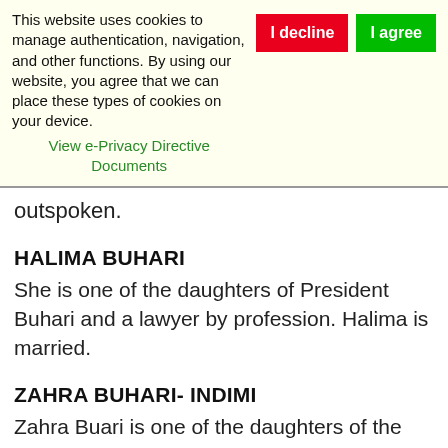This website uses cookies to manage authentication, navigation, and other functions. By using our website, you agree that we can place these types of cookies on your device. View e-Privacy Directive Documents
outspoken.
HALIMA BUHARI
She is one of the daughters of President Buhari and a lawyer by profession. Halima is married.
ZAHRA BUHARI- INDIMI
Zahra Buari is one of the daughters of the president of Nigeria,Mohammadu Buari and she became very famous after her father won the 2015 presidential elections as nothing was relatively known about the stunning beauty who was living